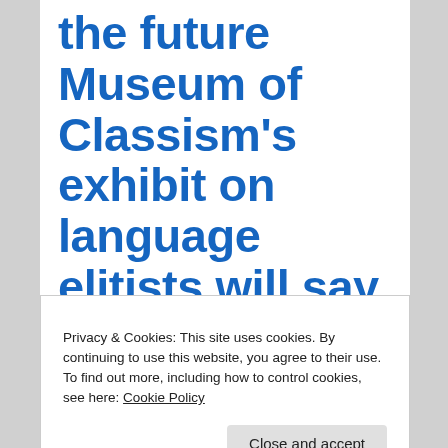the future Museum of Classism's exhibit on language elitists will say
Privacy & Cookies: This site uses cookies. By continuing to use this website, you agree to their use.
To find out more, including how to control cookies, see here: Cookie Policy
Close and accept
twenty-first century was one marked by